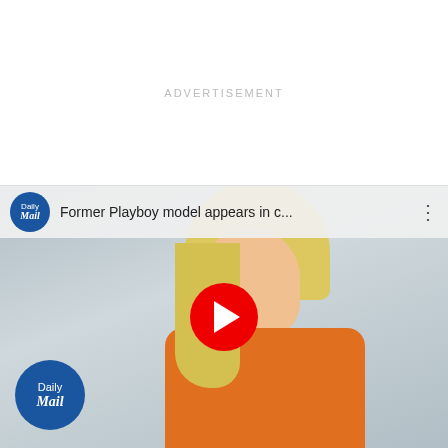ADVERTISEMENT
[Figure (screenshot): YouTube video thumbnail embedded from Daily Mail showing a blonde woman in an orange prison jumpsuit in a courtroom. Video title: 'Former Playboy model appears in c...' with Daily Mail logo and YouTube play button overlay.]